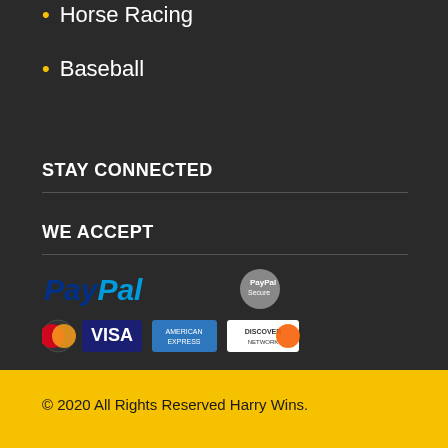Horse Racing
Baseball
STAY CONNECTED
WE ACCEPT
[Figure (logo): Payment logos: PayPal, PayPal secure, Mastercard, Visa, American Express, Discover]
© 2020 All Rights Reserved Harry Wins.